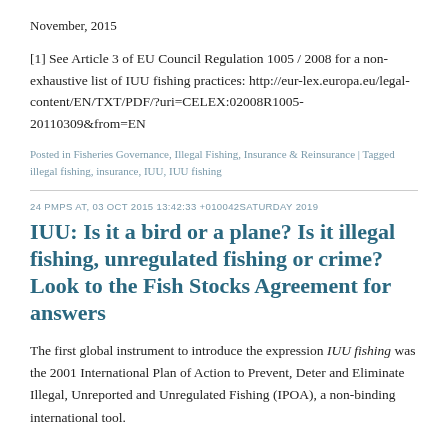November, 2015
[1] See Article 3 of EU Council Regulation 1005 / 2008 for a non-exhaustive list of IUU fishing practices: http://eur-lex.europa.eu/legal-content/EN/TXT/PDF/?uri=CELEX:02008R1005-20110309&from=EN
Posted in Fisheries Governance, Illegal Fishing, Insurance & Reinsurance | Tagged illegal fishing, insurance, IUU, IUU fishing
24 PMPS AT, 03 OCT 2015 13:42:33 +010042SATURDAY 2019
IUU: Is it a bird or a plane? Is it illegal fishing, unregulated fishing or crime? Look to the Fish Stocks Agreement for answers
The first global instrument to introduce the expression IUU fishing was the 2001 International Plan of Action to Prevent, Deter and Eliminate Illegal, Unreported and Unregulated Fishing (IPOA), a non-binding international tool.